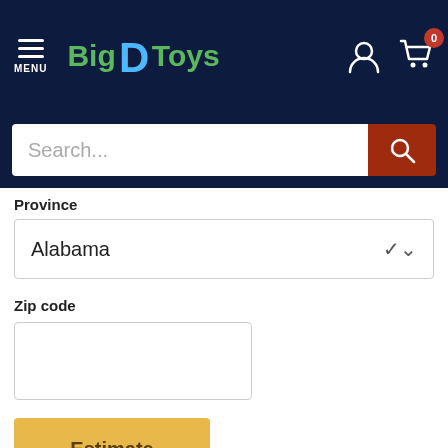[Figure (screenshot): BigDToys website header with navigation menu icon, logo, user icon, and cart icon with badge showing 0]
[Figure (screenshot): Search bar with placeholder text 'Search...' and red search button]
Province
Alabama
Zip code
Estimate
Refund Policy